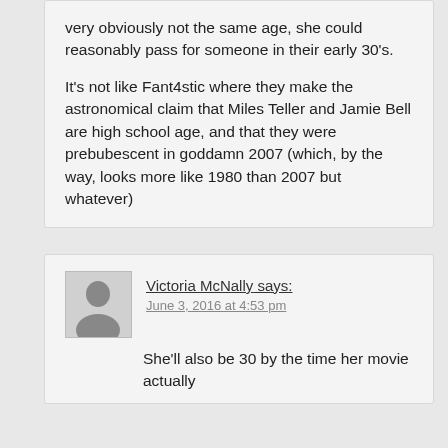very obviously not the same age, she could reasonably pass for someone in their early 30's.

It's not like Fant4stic where they make the astronomical claim that Miles Teller and Jamie Bell are high school age, and that they were prebubescent in goddamn 2007 (which, by the way, looks more like 1980 than 2007 but whatever)
Victoria McNally says:
June 3, 2016 at 4:53 pm

She'll also be 30 by the time her movie actually